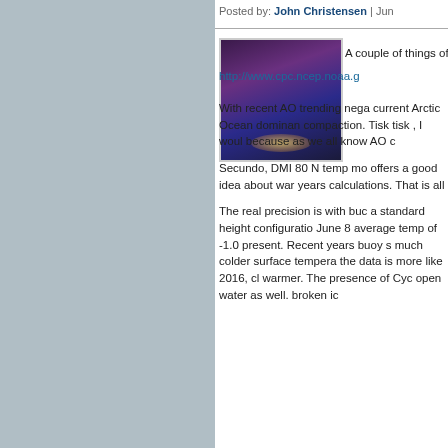Posted by: John Christensen | Jun
[Figure (photo): Small thumbnail image showing aurora or atmospheric phenomenon with pink/purple hues and a glowing light near the horizon]
A couple of things of interest
http://www.cpc.ncep.noaa.g
With recent AO trending nega current Arctic Ocean dominan compaction. Tisk tisk , I woul because as we all know AO c
Secundo, DMI 80 N temp mo offers a good idea about war years calculations. That is all
The real precision is with buc a standard height configuratio June 8 average temp of -1.0 present. Recent years buoy s much colder surface tempera the data is more like 2016, cl warmer. The presence of Cyc open water as well. broken ic